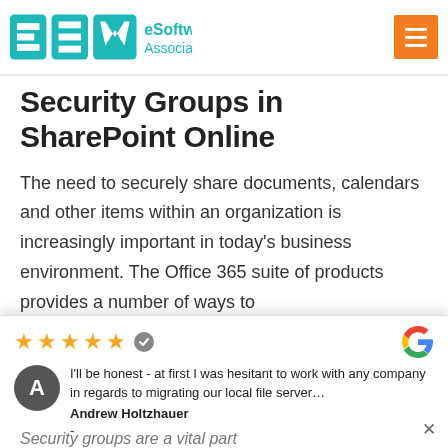eSoftware Associates Inc.
Security Groups in SharePoint Online
The need to securely share documents, calendars and other items within an organization is increasingly important in today’s business environment. The Office 365 suite of products provides a number of ways to
I'll be honest - at first I was hesitant to work with any company in regards to migrating our local file server… Andrew Holtzhauer
Security groups are a vital part